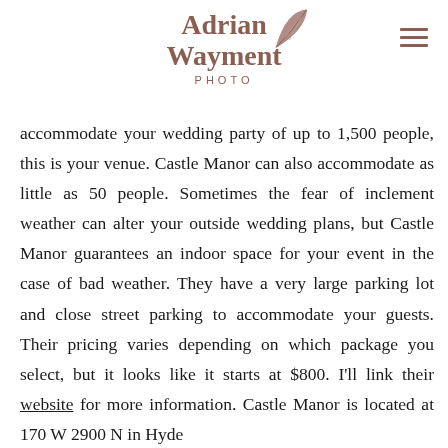[Figure (logo): Adrian Wayment Photo logo with decorative leaf illustration, in brownish-rose color]
accommodate your wedding party of up to 1,500 people, this is your venue. Castle Manor can also accommodate as little as 50 people. Sometimes the fear of inclement weather can alter your outside wedding plans, but Castle Manor guarantees an indoor space for your event in the case of bad weather. They have a very large parking lot and close street parking to accommodate your guests. Their pricing varies depending on which package you select, but it looks like it starts at $800. I'll link their website for more information. Castle Manor is located at 170 W 2900 N in Hyde